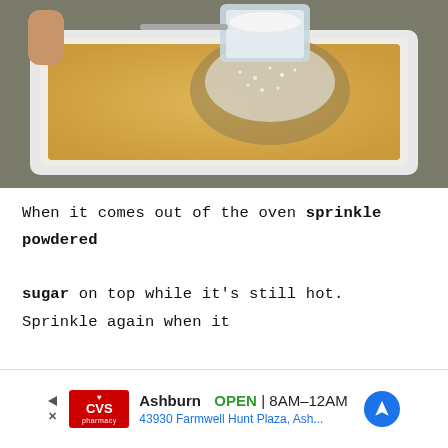[Figure (photo): A hand holding a measuring cup filled with white powdered sugar being sprinkled over a yellow baked cake in a white rectangular baking dish, viewed from above at an angle.]
When it comes out of the oven sprinkle powdered sugar on top while it's still hot.  Sprinkle again when it has completely cooled.
[Figure (screenshot): Advertisement bar: CVS pharmacy logo, Ashburn OPEN 8AM-12AM, 43930 Farmwell Hunt Plaza, Ash..., navigation arrow icon.]